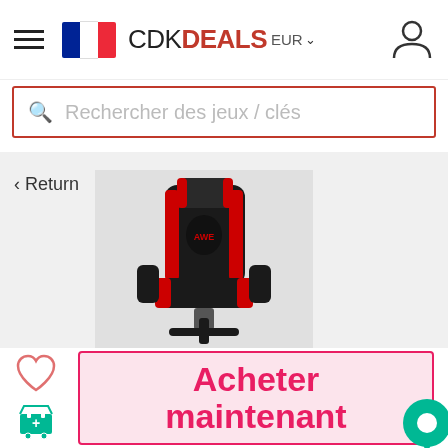[Figure (screenshot): CDK Deals website header with hamburger menu, French flag logo, brand name CDK DEALS, EUR currency selector, and user account icon]
[Figure (screenshot): Search bar with red border containing placeholder text 'Rechercher des jeux / clés']
< Return
[Figure (photo): Black and red gaming chair product image on grey background]
[Figure (screenshot): Action area with heart/wishlist icon, cart icon, 'Acheter maintenant' buy button in pink/red, and green chat bubble]
Acheter maintenant